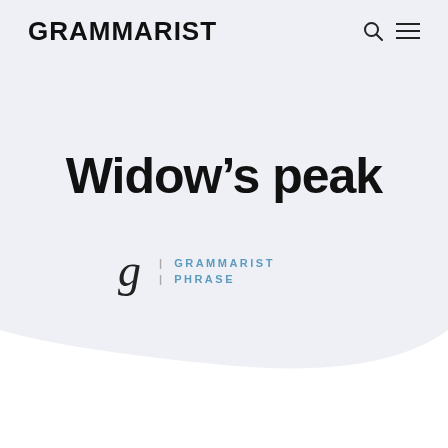GRAMMARIST
Widow’s peak
| GRAMMARIST | PHRASE